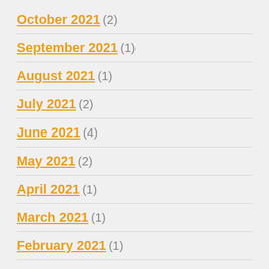October 2021 (2)
September 2021 (1)
August 2021 (1)
July 2021 (2)
June 2021 (4)
May 2021 (2)
April 2021 (1)
March 2021 (1)
February 2021 (1)
January 2021 (2)